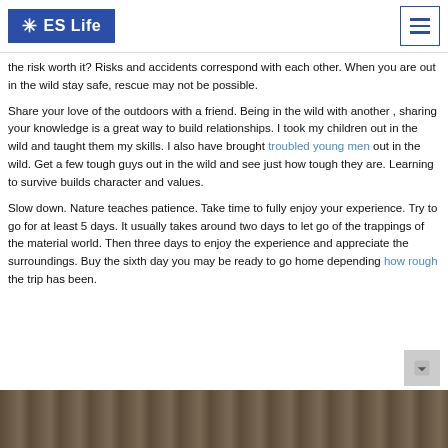ES Life
the risk worth it? Risks and accidents correspond with each other. When you are out in the wild stay safe, rescue may not be possible.
Share your love of the outdoors with a friend. Being in the wild with another , sharing your knowledge is a great way to build relationships. I took my children out in the wild and taught them my skills. I also have brought troubled young men out in the wild. Get a few tough guys out in the wild and see just how tough they are. Learning to survive builds character and values.
Slow down. Nature teaches patience. Take time to fully enjoy your experience. Try to go for at least 5 days. It usually takes around two days to let go of the trappings of the material world. Then three days to enjoy the experience and appreciate the surroundings. Buy the sixth day you may be ready to go home depending how rough the trip has been.
[Figure (photo): Outdoor nature/forest photo strip at bottom of page]